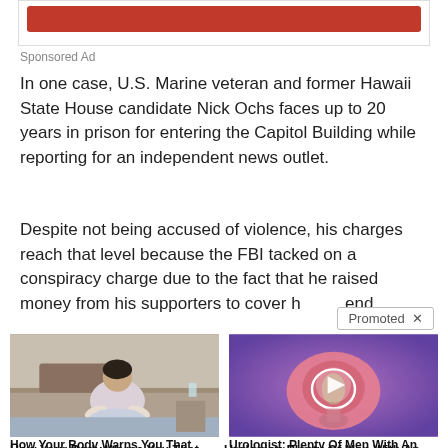[Figure (other): Red advertisement banner at top of page]
Sponsored Ad
In one case, U.S. Marine veteran and former Hawaii State House candidate Nick Ochs faces up to 20 years in prison for entering the Capitol Building while reporting for an independent news outlet.
Despite not being accused of violence, his charges reach that level because the FBI tacked on a conspiracy charge due to the fact that he raised money from his supporters to cover [his expenses/that end]
[Figure (other): Promoted ad tooltip overlay with X close button]
[Figure (other): Thumbnail image of elderly person sitting on bed, hunched over]
How Your Body Warns You That Dementia Is Forming
64,333
[Figure (other): Medical illustration of prostate anatomy with video play button overlay]
Urologist: Plenty Of Men With An Enlarged Prostate Do Not Know About This Simple Solution
5,567